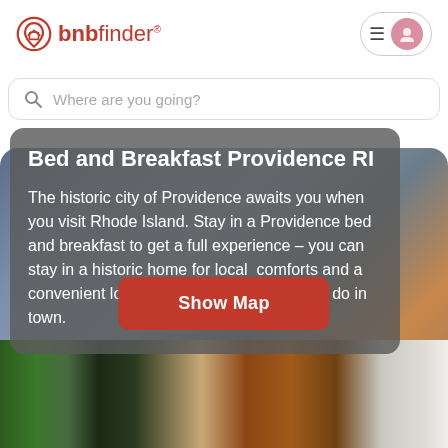bnbfinder®
Where are you going?
Bed and Breakfast Providence RI
The historic city of Providence awaits you when you visit Rhode Island. Stay in a Providence bed and breakfast to get a full experience – you can stay in a historic home for local  comforts and a convenient location near the best things to do in town.
[Figure (photo): Aerial/cityscape view of Providence RI city with buildings in dusk/evening light]
Show Map
[Figure (photo): Street-level view of historic Providence buildings with an American flag visible, iron railings, brick architecture]